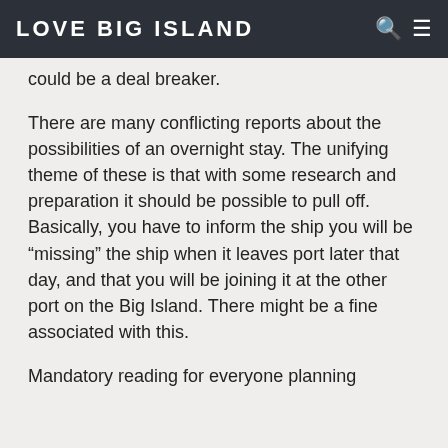LOVE BIG ISLAND
could be a deal breaker.
There are many conflicting reports about the possibilities of an overnight stay. The unifying theme of these is that with some research and preparation it should be possible to pull off. Basically, you have to inform the ship you will be “missing” the ship when it leaves port later that day, and that you will be joining it at the other port on the Big Island. There might be a fine associated with this.
Mandatory reading for everyone planning